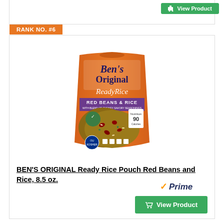[Figure (other): Green View Product button with shopping cart icon at the top of the page]
RANK NO. #6
[Figure (photo): Ben's Original Ready Rice Red Beans & Rice pouch product photo, orange packaging with purple banner]
BEN'S ORIGINAL Ready Rice Pouch Red Beans and Rice, 8.5 oz.
[Figure (logo): Amazon Prime logo with checkmark and italic Prime text]
[Figure (other): Green View Product button with shopping cart icon at the bottom]